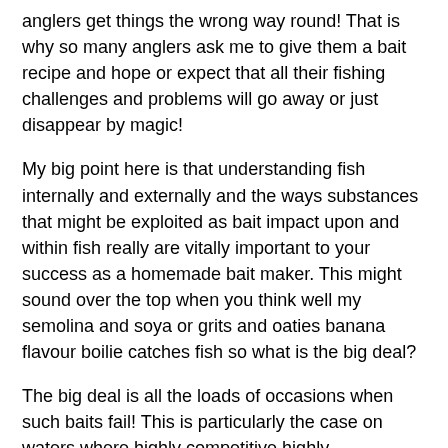anglers get things the wrong way round! That is why so many anglers ask me to give them a bait recipe and hope or expect that all their fishing challenges and problems will go away or just disappear by magic!
My big point here is that understanding fish internally and externally and the ways substances that might be exploited as bait impact upon and within fish really are vitally important to your success as a homemade bait maker. This might sound over the top when you think well my semolina and soya or grits and oaties banana flavour boilie catches fish so what is the big deal?
The big deal is all the loads of occasions when such baits fail! This is particularly the case on waters where highly competitive highly nutritionally-stimulating baits very much impact upon fish behaviours, where if your bait is just not stimulating fish in any particular way that results in you getting as many if not more bites than any other anglers, then